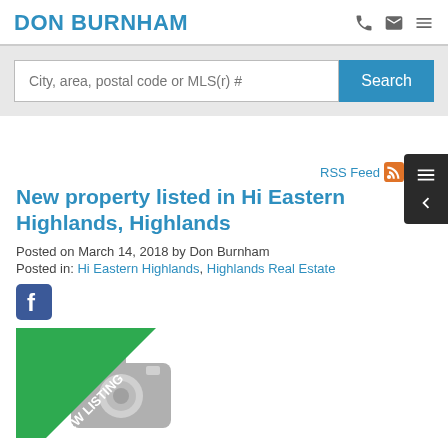DON BURNHAM
[Figure (screenshot): Search bar with placeholder text 'City, area, postal code or MLS(r) #' and a blue Search button]
RSS Feed
New property listed in Hi Eastern Highlands, Highlands
Posted on March 14, 2018 by Don Burnham
Posted in: Hi Eastern Highlands, Highlands Real Estate
[Figure (illustration): Facebook share icon (square with 'f' logo)]
[Figure (photo): New listing placeholder image with camera icon and green 'NEW LISTING' diagonal banner]